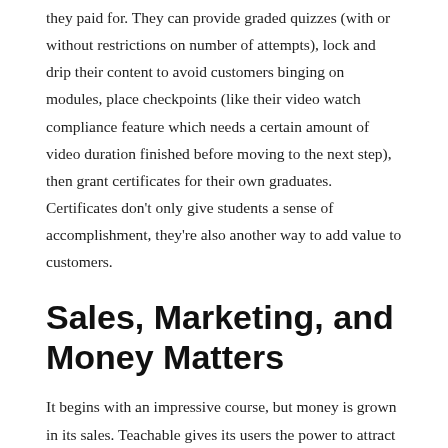they paid for. They can provide graded quizzes (with or without restrictions on number of attempts), lock and drip their content to avoid customers binging on modules, place checkpoints (like their video watch compliance feature which needs a certain amount of video duration finished before moving to the next step), then grant certificates for their own graduates. Certificates don't only give students a sense of accomplishment, they're also another way to add value to customers.
Sales, Marketing, and Money Matters
It begins with an impressive course, but money is grown in its sales. Teachable gives its users the power to attract and keep clients: like enabling landing pages to connect to Facebook ads, setting strategic upselling buttons, and displaying customer testimonials, product advantages and badges. They include the capacity to set up discussion forums that build a sense of